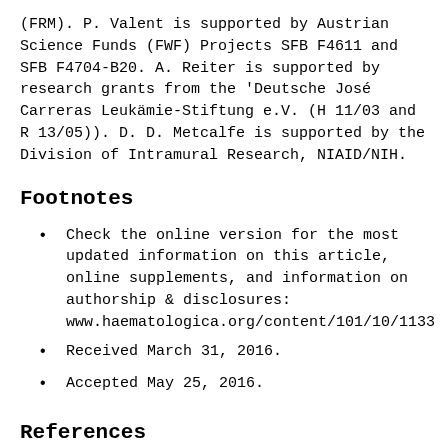(FRM). P. Valent is supported by Austrian Science Funds (FWF) Projects SFB F4611 and SFB F4704-B20. A. Reiter is supported by research grants from the 'Deutsche José Carreras Leukämie-Stiftung e.V. (H 11/03 and R 13/05)). D. D. Metcalfe is supported by the Division of Intramural Research, NIAID/NIH.
Footnotes
Check the online version for the most updated information on this article, online supplements, and information on authorship & disclosures: www.haematologica.org/content/101/10/1133
Received March 31, 2016.
Accepted May 25, 2016.
References